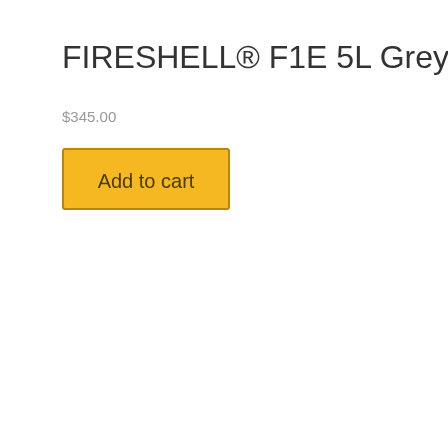FIRESHELL® F1E 5L Grey
$345.00
Add to cart